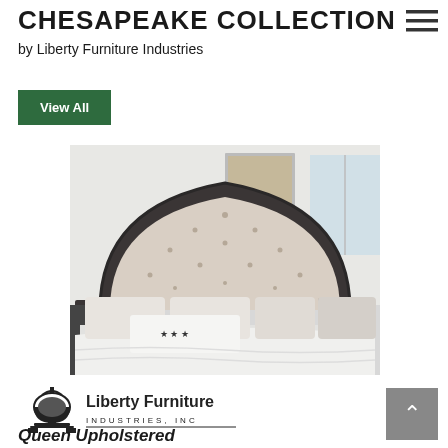CHESAPEAKE COLLECTION
by Liberty Furniture Industries
View All
[Figure (photo): A bedroom headboard from the Chesapeake Collection — an upholstered, tufted panel headboard with a scalloped arch shape and dark wood trim, shown on a bed with white bedding and decorative pillows with star embroidery.]
[Figure (logo): Liberty Furniture Industries, Inc. logo with Liberty Bell icon and company name text.]
Queen Upholstered